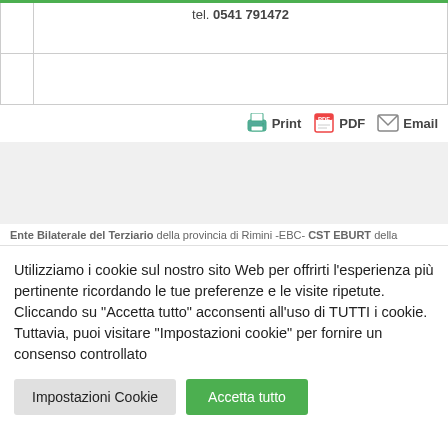|  | tel. 0541 791472 |
|  |  |
[Figure (screenshot): Print, PDF, Email action buttons with icons]
[Figure (screenshot): Gray advertisement/banner section]
Ente Bilaterale del Terziario della provincia di Rimini -EBC- CST EBURT della
Utilizziamo i cookie sul nostro sito Web per offrirti l'esperienza più pertinente ricordando le tue preferenze e le visite ripetute. Cliccando su "Accetta tutto" acconsenti all'uso di TUTTI i cookie. Tuttavia, puoi visitare "Impostazioni cookie" per fornire un consenso controllato
Impostazioni Cookie
Accetta tutto